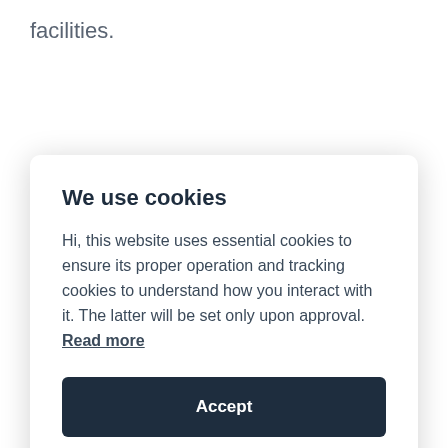facilities.
We use cookies
Hi, this website uses essential cookies to ensure its proper operation and tracking cookies to understand how you interact with it. The latter will be set only upon approval. Read more
Accept
Settings
offer disabled access and facilities